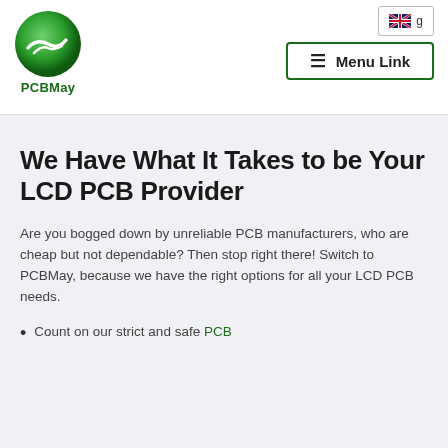[Figure (logo): PCBMay logo: green globe with circuit wave mark, text 'PCBMay' below in green]
[Figure (screenshot): Language selector button with UK flag]
[Figure (other): Menu Link hamburger button with three horizontal lines]
We Have What It Takes to be Your LCD PCB Provider
Are you bogged down by unreliable PCB manufacturers, who are cheap but not dependable? Then stop right there! Switch to PCBMay, because we have the right options for all your LCD PCB needs.
Count on our strict and safe PCB